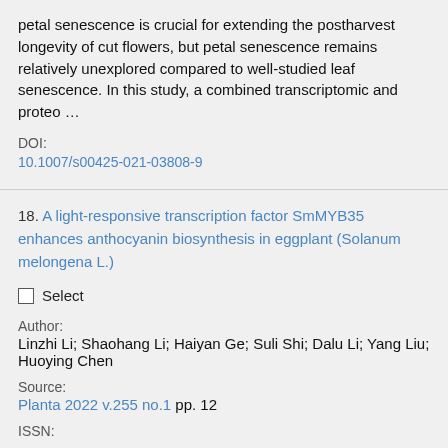petal senescence is crucial for extending the postharvest longevity of cut flowers, but petal senescence remains relatively unexplored compared to well-studied leaf senescence. In this study, a combined transcriptomic and proteo …
DOI:
10.1007/s00425-021-03808-9
18. A light-responsive transcription factor SmMYB35 enhances anthocyanin biosynthesis in eggplant (Solanum melongena L.)
Select
Author:
Linzhi Li; Shaohang Li; Haiyan Ge; Suli Shi; Dalu Li; Yang Liu; Huoying Chen
Source:
Planta 2022 v.255 no.1 pp. 12
ISSN: